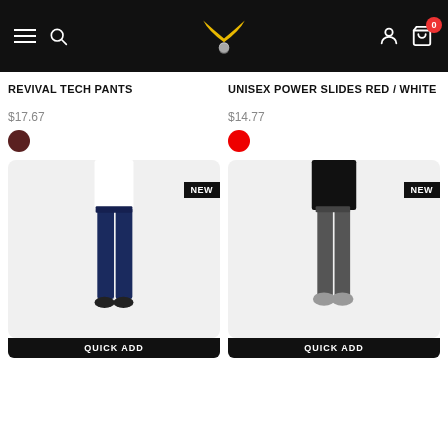Navigation bar with hamburger menu, search, logo, user icon, cart (0)
REVIVAL TECH PANTS
UNISEX POWER SLIDES RED / WHITE
$17.67
$14.77
[Figure (photo): Person wearing navy blue slim-fit jogger pants with white top and dark sneakers, NEW badge on image]
[Figure (photo): Person wearing dark grey slim-fit jogger pants with black top and grey sneakers, NEW badge on image]
QUICK ADD
QUICK ADD